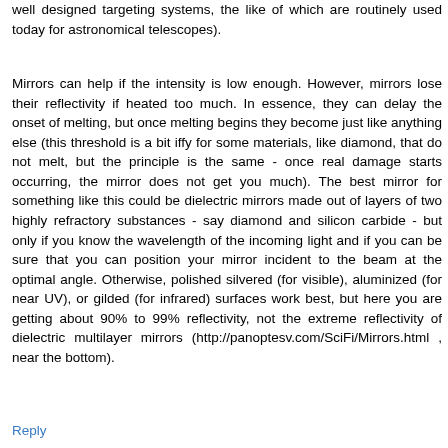well designed targeting systems, the like of which are routinely used today for astronomical telescopes).
Mirrors can help if the intensity is low enough. However, mirrors lose their reflectivity if heated too much. In essence, they can delay the onset of melting, but once melting begins they become just like anything else (this threshold is a bit iffy for some materials, like diamond, that do not melt, but the principle is the same - once real damage starts occurring, the mirror does not get you much). The best mirror for something like this could be dielectric mirrors made out of layers of two highly refractory substances - say diamond and silicon carbide - but only if you know the wavelength of the incoming light and if you can be sure that you can position your mirror incident to the beam at the optimal angle. Otherwise, polished silvered (for visible), aluminized (for near UV), or gilded (for infrared) surfaces work best, but here you are getting about 90% to 99% reflectivity, not the extreme reflectivity of dielectric multilayer mirrors (http://panoptesv.com/SciFi/Mirrors.html , near the bottom).
Reply